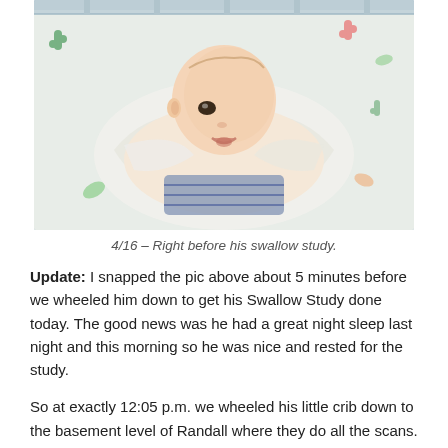[Figure (photo): A newborn baby lying in a hospital crib, wrapped in a white blanket with a colorful print. The baby is looking up with mouth slightly open.]
4/16 – Right before his swallow study.
Update: I snapped the pic above about 5 minutes before we wheeled him down to get his Swallow Study done today. The good news was he had a great night sleep last night and this morning so he was nice and rested for the study.
So at exactly 12:05 p.m. we wheeled his little crib down to the basement level of Randall where they do all the scans. I watched Charlie's eyes as we rolled him down the hallways and he seemed to enjoy the scenic drive through the hospital. He didn't cry at all, he just looked